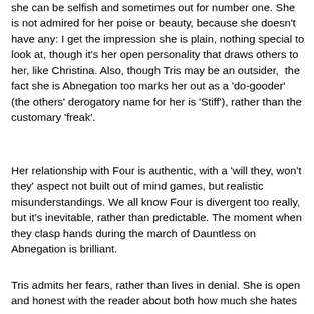she can be selfish and sometimes out for number one. She is not admired for her poise or beauty, because she doesn't have any: I get the impression she is plain, nothing special to look at, though it's her open personality that draws others to her, like Christina. Also, though Tris may be an outsider,  the fact she is Abnegation too marks her out as a 'do-gooder' (the others' derogatory name for her is 'Stiff'), rather than the customary 'freak'.
Her relationship with Four is authentic, with a 'will they, won't they' aspect not built out of mind games, but realistic misunderstandings. We all know Four is divergent too really, but it's inevitable, rather than predictable. The moment when they clasp hands during the march of Dauntless on Abnegation is brilliant.
Tris admits her fears, rather than lives in denial. She is open and honest with the reader about both how much she hates